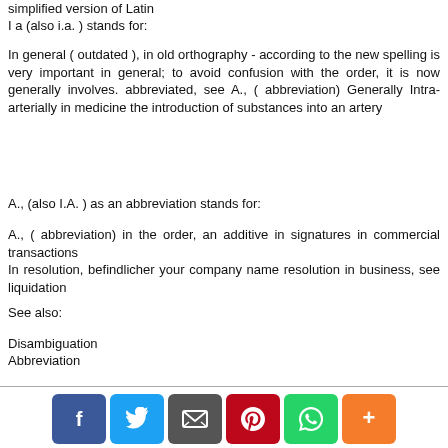simplified version of Latin
I a (also i.a. ) stands for:
In general ( outdated ), in old orthography - according to the new spelling is very important in general; to avoid confusion with the order, it is now generally involves. abbreviated, see A., ( abbreviation) Generally Intra-arterially in medicine the introduction of substances into an artery
A., (also I.A. ) as an abbreviation stands for:
A., ( abbreviation) in the order, an additive in signatures in commercial transactions
In resolution, befindlicher your company name resolution in business, see liquidation
See also:
Disambiguation
Abbreviation
[Figure (infographic): Social media sharing buttons: Facebook (blue), Twitter (light blue), Email (dark grey), Pinterest (red), WhatsApp (green), More (orange)]